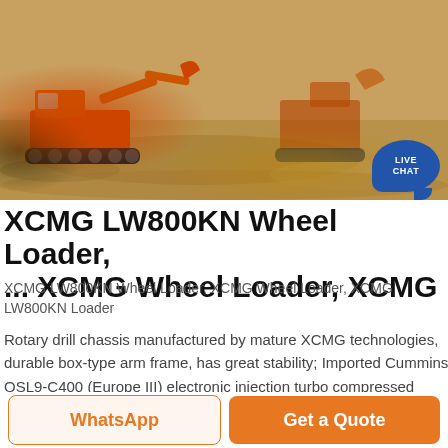[Figure (photo): Construction site photo showing an orange excavator/mini excavator on a dirt/sandy ground with a bucket attachment visible, taken outdoors with natural lighting. A 'LIVE CHAT' badge with chat bubble icon is overlaid on the top-right area of the image.]
XCMG LW800KN Wheel Loader, ... XCMG Wheel Loader, XCMG
XCMG LW800KN Wheel Loader, XCMG Wheel Loader, XCMG LW800KN Loader
Rotary drill chassis manufactured by mature XCMG technologies, durable box-type arm frame, has great stability; Imported Cummins QSL9-C400 (Europe III) electronic injection turbo compressed engine is adopted, strong power, lower noise, low emission, international brand hydraulic system and stable, reliable and high performance